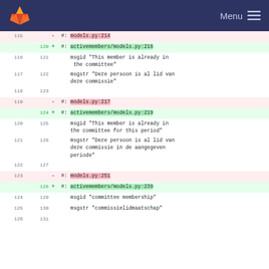GitLab Menu
Diff view showing code changes in models.py / activemembers/models.py with line numbers and msgid/msgstr translations
| old line | new line | sign | content |
| --- | --- | --- | --- |
| 115 |  | - | #: models.py:214 |
|  | 120 | + | #: activemembers/models.py:216 |
| 116 | 121 |  | msgid "This member is already in the committee" |
| 117 | 122 |  | msgstr "Deze persoon is al lid van deze commissie" |
| 118 | 123 |  |  |
| 119 |  | - | #: models.py:217 |
|  | 124 | + | #: activemembers/models.py:219 |
| 120 | 125 |  | msgid "This member is already in the committee for this period" |
| 121 | 126 |  | msgstr "Deze persoon is al lid van deze commissie in de aangegeven periode" |
| 122 | 127 |  |  |
| 123 |  | - | #: models.py:251 |
|  | 128 | + | #: activemembers/models.py:239 |
| 124 | 129 |  | msgid "committee membership" |
| 125 | 130 |  | msgstr "commissielidmaatschap" |
| 126 | 131 |  |  |